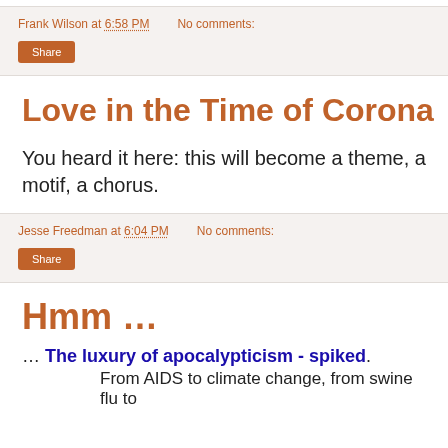Frank Wilson at 6:58 PM   No comments:
Share
Love in the Time of Corona
You heard it here: this will become a theme, a motif, a chorus.
Jesse Freedman at 6:04 PM   No comments:
Share
Hmm …
… The luxury of apocalypticism - spiked.
From AIDS to climate change, from swine flu to